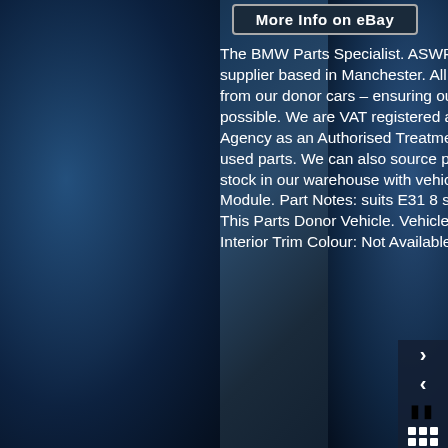[Figure (screenshot): eBay 'More Info on eBay' button at top of product listing page with dark blue water/chrome background]
The BMW Parts Specialist. ASWR is a independent BMW dismantler / Green parts supplier based in Manchester. All our parts are dry stored after being carefully removed from our donor cars – ensuring our customers receive the parts in the best condition possible. We are VAT registered and fully licensed with The DVLA and Environment Agency as an Authorised Treatment Facility and ELV centre. We supply genuine new and used parts. We can also source parts. Massive Range of Stock. We keep a huge range of stock in our warehouse with vehicles coming in daily. BMW E31 8 SERIES Cruise Control Module. Part Notes: suits E31 8 series models only PLEASE MATCH PART NUMBER. This Parts Donor Vehicle. Vehicle/Model: BMW 8 Series. Bodywork Colour: Not Available. Interior Trim Colour: Not Available. Interior Fabric Colour: Not Available. PLEASE GET IN